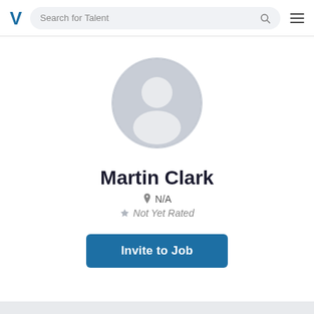V  Search for Talent
[Figure (illustration): Generic grey user avatar circle with silhouette head and shoulders]
Martin Clark
N/A
Not Yet Rated
Invite to Job